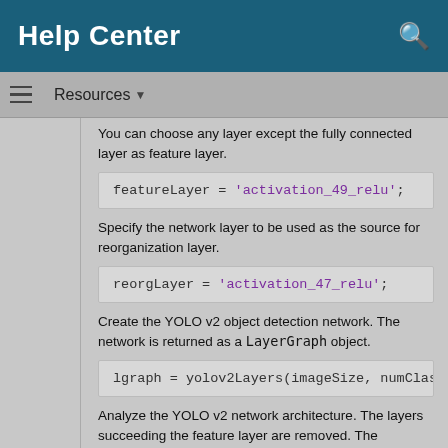Help Center
Resources ▼
You can choose any layer except the fully connected layer as feature layer.
featureLayer = 'activation_49_relu';
Specify the network layer to be used as the source for reorganization layer.
reorgLayer = 'activation_47_relu';
Create the YOLO v2 object detection network. The network is returned as a LayerGraph object.
lgraph = yolov2Layers(imageSize, numClasses
Analyze the YOLO v2 network architecture. The layers succeeding the feature layer are removed. The detection subnetwork along with the YOLO v2 transform and YOLO v2